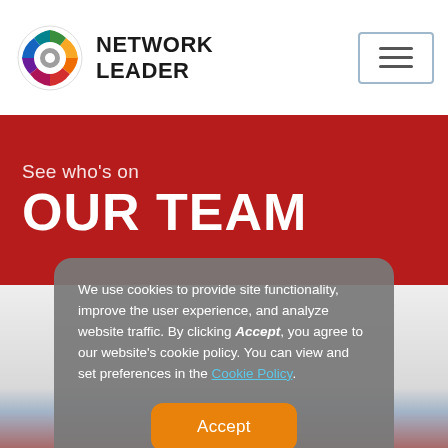[Figure (logo): Network Leader logo with colorful gear/wheel icon and text 'NETWORK LEADER']
[Figure (other): Hamburger menu button (three horizontal lines) in a bordered box]
See who's on OUR TEAM
We use cookies to provide site functionality, improve the user experience, and analyze website traffic. By clicking Accept, you agree to our website's cookie policy. You can view and set preferences in the Cookie Policy.
[Figure (photo): Partial photo of a person visible below the cookie consent modal]